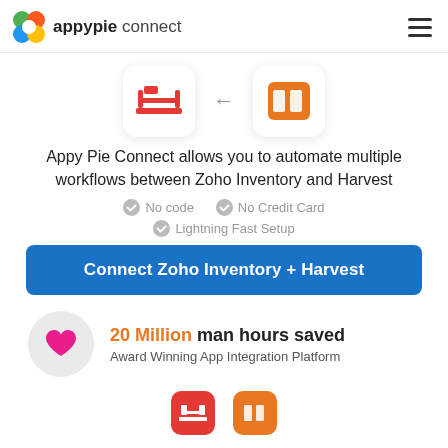appypie connect
[Figure (logo): Zoho Inventory and Harvest app icons with left arrow between them]
Appy Pie Connect allows you to automate multiple workflows between Zoho Inventory and Harvest
No code
No Credit Card
Lightning Fast Setup
Connect Zoho Inventory + Harvest
20 Million man hours saved
Award Winning App Integration Platform